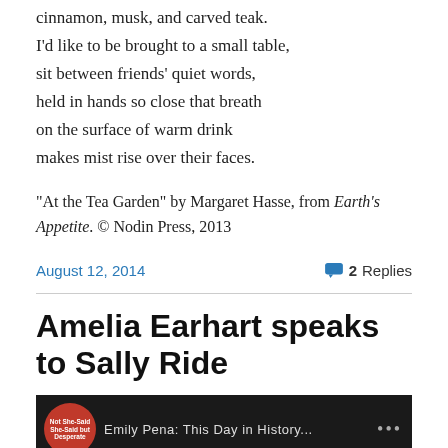cinnamon, musk, and carved teak.
I'd like to be brought to a small table,
sit between friends' quiet words,
held in hands so close that breath
on the surface of warm drink
makes mist rise over their faces.
“At the Tea Garden” by Margaret Hasse, from Earth’s Appetite. © Nodin Press, 2013
August 12, 2014
2 Replies
Amelia Earhart speaks to Sally Ride
[Figure (screenshot): Video thumbnail showing a dark background with a red circular badge on the left and text reading 'Emily Pena: This Day in History...' in the center]